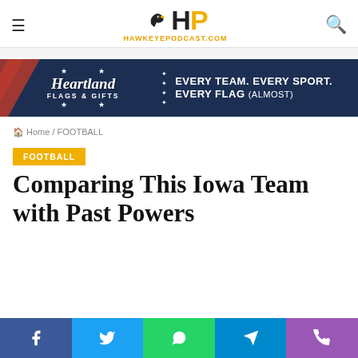HawkeyePodcast.com
[Figure (illustration): Heartland Flags & Gifts advertisement banner: dark navy background with red diagonal stripes, script logo and tagline EVERY TEAM. EVERY SPORT. EVERY FLAG (ALMOST)]
Home / FOOTBALL
FOOTBALL
Comparing This Iowa Team with Past Powers
[Figure (infographic): Social sharing buttons bar: Facebook, Twitter, WhatsApp, Telegram, Phone]